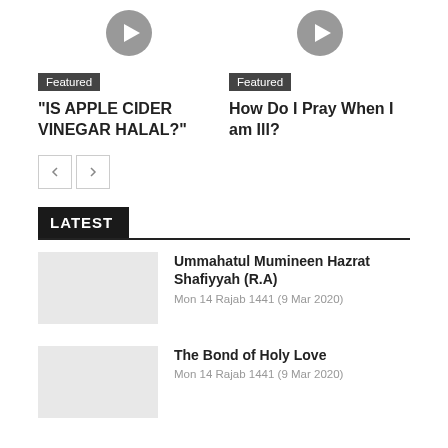[Figure (other): Play button icon for first featured video]
[Figure (other): Play button icon for second featured video]
Featured
“IS APPLE CIDER VINEGAR HALAL?”
Featured
How Do I Pray When I am Ill?
LATEST
Ummahatul Mumineen Hazrat Shafiyyah (R.A)
Mon 14 Rajab 1441 (9 Mar 2020)
The Bond of Holy Love
Mon 14 Rajab 1441 (9 Mar 2020)